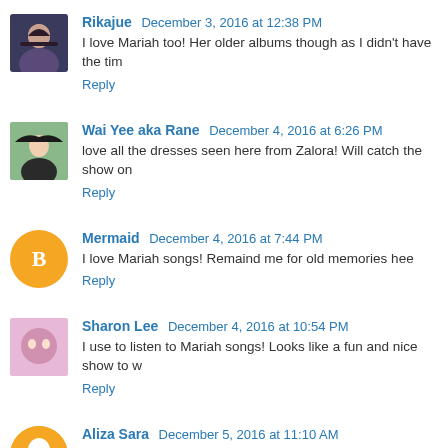Rikajue  December 3, 2016 at 12:38 PM
I love Mariah too! Her older albums though as I didn't have the tim
Reply
Wai Yee aka Rane  December 4, 2016 at 6:26 PM
love all the dresses seen here from Zalora! Will catch the show on
Reply
Mermaid  December 4, 2016 at 7:44 PM
I love Mariah songs! Remaind me for old memories hee
Reply
Sharon Lee  December 4, 2016 at 10:54 PM
I use to listen to Mariah songs! Looks like a fun and nice show to w
Reply
Aliza Sara  December 5, 2016 at 11:10 AM